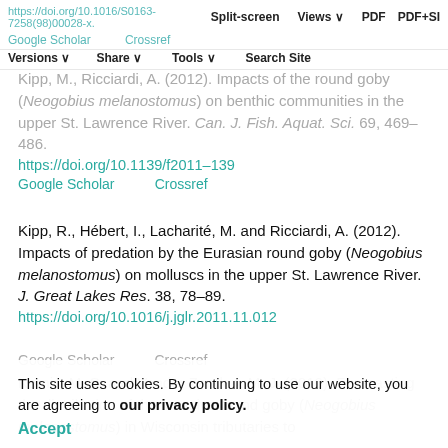https://doi.org/10.1016/S0163-7258(98)00028-x. | Split-screen | Views | PDF | PDF+SI
Google Scholar   Crossref
Versions | Share | Tools | Search Site
Kipp, M., Ricciardi, A. (2012). Impacts of the round goby (Neogobius melanostomus) on benthic communities in the upper St. Lawrence River. Can. J. Fish. Aquat. Sci. 69, 469–486. https://doi.org/10.1139/f2011-139
Google Scholar   Crossref
Kipp, R., Hébert, I., Lacharité, M. and Ricciardi, A. (2012). Impacts of predation by the Eurasian round goby (Neogobius melanostomus) on molluscs in the upper St. Lawrence River. J. Great Lakes Res. 38, 78–89. https://doi.org/10.1016/j.jglr.2011.11.012
Google Scholar   Crossref
Kornis, M. S. and Vander Zanden, M. J. (2010). Forecasting the distribution of the invasive round goby (Neogobius melanostomus) in Wisconsin tributaries to
This site uses cookies. By continuing to use our website, you are agreeing to our privacy policy.
Accept